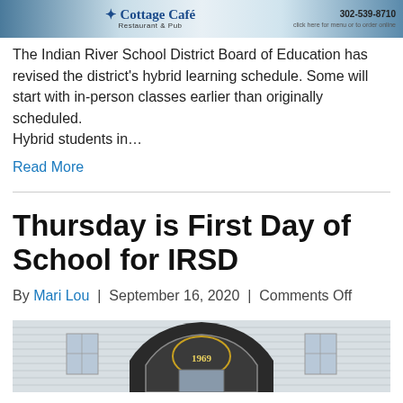[Figure (photo): Advertisement banner for Cottage Café Restaurant & Pub with phone number 302-539-8710]
The Indian River School District Board of Education has revised the district's hybrid learning schedule. Some will start with in-person classes earlier than originally scheduled.
Hybrid students in…
Read More
Thursday is First Day of School for IRSD
By Mari Lou | September 16, 2020 | Comments Off
[Figure (photo): Photo of a school building entrance with an ornate pediment showing the year 1969]